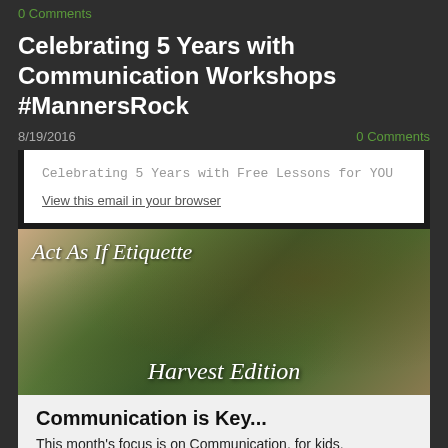0 Comments
Celebrating 5 Years with Communication Workshops #MannersRock
8/19/2016
0 Comments
Celebrating 5 Years with Free Lessons for YOU
View this email in your browser
[Figure (photo): Newsletter header image with text 'Act As If Etiquette' in cursive and 'Harvest Edition' over a background of fresh vegetables including cucumbers, berries, and green produce on a wooden surface]
Communication is Key...
This month's focus is on Communication, for kids, individuals and businesses.